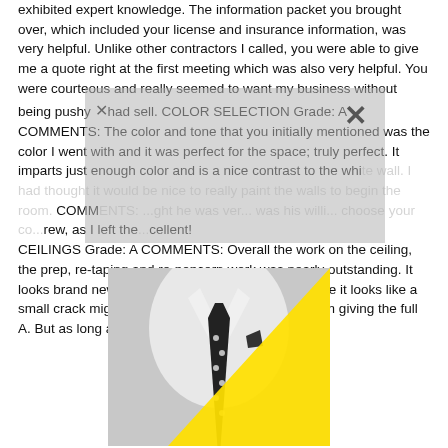exhibited expert knowledge. The information packet you brought over, which included your license and insurance information, was very helpful. Unlike other contractors I called, you were able to give me a quote right at the first meeting which was also very helpful. You were courteous and really seemed to want my business without being pushy or hard sell. COLOR SELECTION Grade: A COMMENTS: The color and tone that you initially mentioned was the color I went with and it was perfect for the space; truly perfect. It imparts just enough color and is a nice contrast to the white... thought... to really p... walls to begin... COMMENTS: ...ght he was ver... was his willi... choose your co... rew, as I left the... cellent! CEILINGS Grade: A COMMENTS: Overall the work on the ceiling, the prep, re-taping and re-popcorn work was nearly outstanding. It looks brand new. I did find one very small area where it looks like a small crack might have returned. This keeps me from giving the full A. But as long as
[Figure (photo): Black and white photo of a man in a white dress shirt with a polka dot tie and matching pocket square, overlaid with a large bright yellow triangle in the lower right portion of the image. A gray semi-transparent rectangle with an X close button overlays the upper portion.]